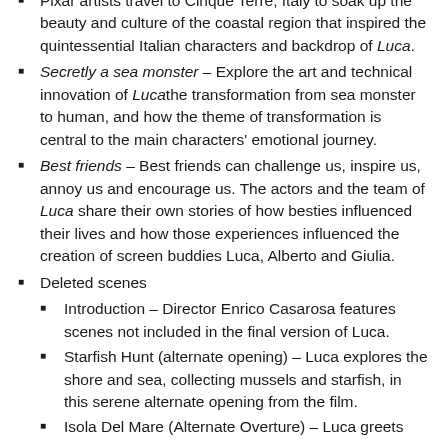Pixar artists travel to Cinque Terre, Italy to soak up the beauty and culture of the coastal region that inspired the quintessential Italian characters and backdrop of Luca.
Secretly a sea monster – Explore the art and technical innovation of Luca the transformation from sea monster to human, and how the theme of transformation is central to the main characters' emotional journey.
Best friends – Best friends can challenge us, inspire us, annoy us and encourage us. The actors and the team of Luca share their own stories of how besties influenced their lives and how those experiences influenced the creation of screen buddies Luca, Alberto and Giulia.
Deleted scenes
Introduction – Director Enrico Casarosa features scenes not included in the final version of Luca.
Starfish Hunt (alternate opening) – Luca explores the shore and sea, collecting mussels and starfish, in this serene alternate opening from the film.
Isola Del Mare (Alternate Overture) – Luca greets